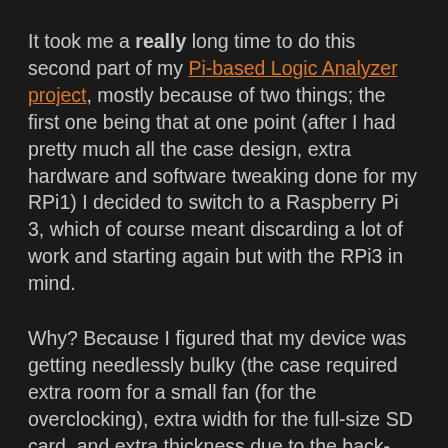It took me a really long time to do this second part of my Pi-based Logic Analyzer project, mostly because of two things; the first one being that at one point (after I had pretty much all the case design, extra hardware and software tweaking done for my RPi1) I decided to switch to a Raspberry Pi 3, which of course meant discarding a lot of work and starting again but with the RPi3 in mind.
Why? Because I figured that my device was getting needlessly bulky (the case required extra room for a small fan (for the overclocking), extra width for the full-size SD card, and extra thickness due to the back-facing P5 connector, etc), and it would have been almost impossible for others to replicate this project (because I